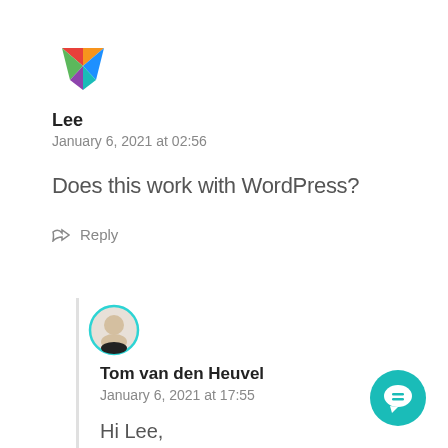[Figure (logo): Colorful geometric logo (multicolored downward-pointing chevron/heart shape in red, orange, green, blue, purple)]
Lee
January 6, 2021 at 02:56
Does this work with WordPress?
Reply
[Figure (photo): Circular avatar photo of a young man with light skin, short hair, wearing a dark shirt, framed with a teal/cyan border]
Tom van den Heuvel
January 6, 2021 at 17:55
Hi Lee,
[Figure (other): Teal/cyan circular chat bubble FAB button with a speech bubble icon in white]